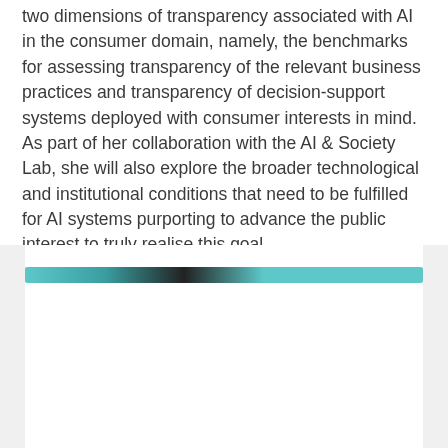two dimensions of transparency associated with AI in the consumer domain, namely, the benchmarks for assessing transparency of the relevant business practices and transparency of decision-support systems deployed with consumer interests in mind. As part of her collaboration with the AI & Society Lab, she will also explore the broader technological and institutional conditions that need to be fulfilled for AI systems purporting to advance the public interest to truly realise this goal.
[Figure (photo): A partially visible photograph with a teal/cyan and dark horizontal strip visible at the top, set against a light gray side panel background.]